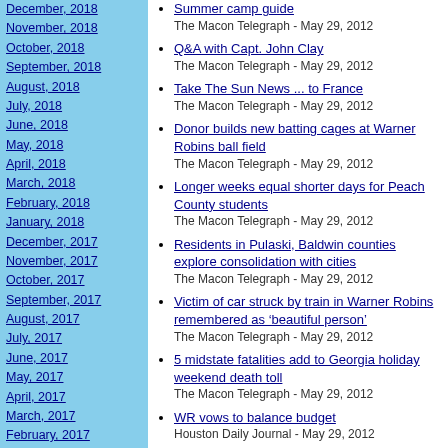December, 2018
November, 2018
October, 2018
September, 2018
August, 2018
July, 2018
June, 2018
May, 2018
April, 2018
March, 2018
February, 2018
January, 2018
December, 2017
November, 2017
October, 2017
September, 2017
August, 2017
July, 2017
June, 2017
May, 2017
April, 2017
March, 2017
February, 2017
January, 2017
December, 2016
November, 2016
October, 2016
September, 2016
August, 2016
July, 2016
Summer camp guide - The Macon Telegraph - May 29, 2012
Q&A with Capt. John Clay - The Macon Telegraph - May 29, 2012
Take The Sun News ... to France - The Macon Telegraph - May 29, 2012
Donor builds new batting cages at Warner Robins ball field - The Macon Telegraph - May 29, 2012
Longer weeks equal shorter days for Peach County students - The Macon Telegraph - May 29, 2012
Residents in Pulaski, Baldwin counties explore consolidation with cities - The Macon Telegraph - May 29, 2012
Victim of car struck by train in Warner Robins remembered as ‘beautiful person’ - The Macon Telegraph - May 29, 2012
5 midstate fatalities add to Georgia holiday weekend death toll - The Macon Telegraph - May 29, 2012
WR vows to balance budget - Houston Daily Journal - May 29, 2012
3 killed in car-train accident - Houston Daily Journal - May 29, 2012